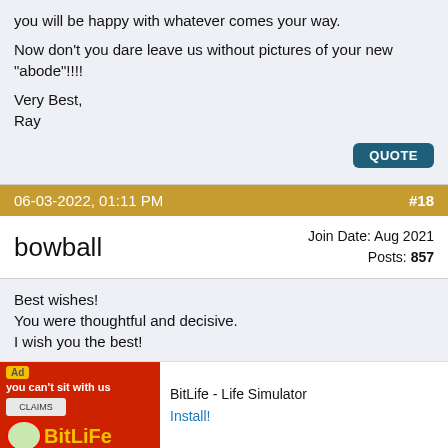you will be happy with whatever comes your way.
Now don't you dare leave us without pictures of your new "abode"!!!!
Very Best,
Ray
QUOTE
06-03-2022, 01:11 PM  #18
bowball  Join Date: Aug 2021  Posts: 857
Best wishes!
You were thoughtful and decisive.
I wish you the best!
QUOTE
06-11-2022, 08:24 AM  #19
Join Date: Jan 2014  451
Ad  BitLife - Life Simulator  Install!